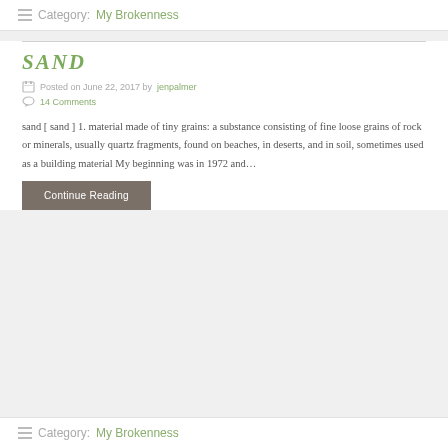≡ Category: My Brokenness
SAND
Posted on June 22, 2017 by jenpalmer
14 Comments
sand [ sand ] 1. material made of tiny grains: a substance consisting of fine loose grains of rock or minerals, usually quartz fragments, found on beaches, in deserts, and in soil, sometimes used as a building material My beginning was in 1972 and...
Continue Reading
≡ Category: My Brokenness